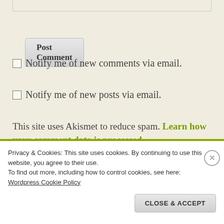[Figure (screenshot): Top border of a comment textarea input box]
Post Comment
Notify me of new comments via email.
Notify me of new posts via email.
This site uses Akismet to reduce spam. Learn how your comment data is processed.
Privacy & Cookies: This site uses cookies. By continuing to use this website, you agree to their use.
To find out more, including how to control cookies, see here:
Wordpress Cookie Policy
CLOSE & ACCEPT